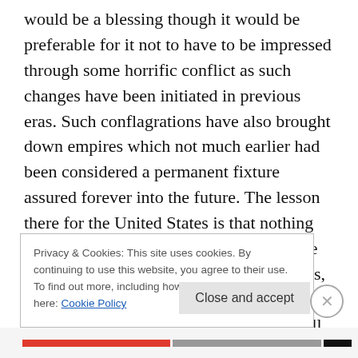would be a blessing though it would be preferable for it not to have to be impressed through some horrific conflict as such changes have been initiated in previous eras. Such conflagrations have also brought down empires which not much earlier had been considered a permanent fixture assured forever into the future. The lesson there for the United States is that nothing remains on top forever, not Rome, not the British, not the Spanish, not the Egyptians, not Alexander's Greeks and not even China, one of the longest continuous empires still existing and asserting a presence in the modern age.
Privacy & Cookies: This site uses cookies. By continuing to use this website, you agree to their use. To find out more, including how to control cookies, see here: Cookie Policy